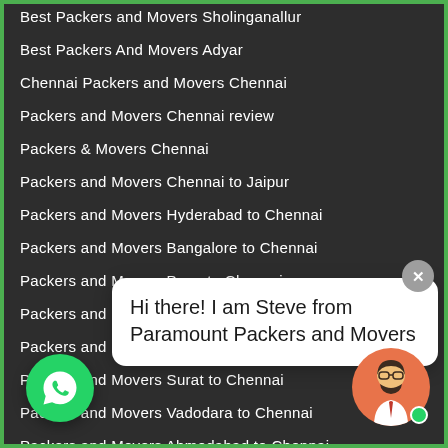Best Packers and Movers Sholinganallur
Best Packers And Movers Adyar
Chennai Packers and Movers Chennai
Packers and Movers Chennai review
Packers & Movers Chennai
Packers and Movers Chennai to Jaipur
Packers and Movers Hyderabad to Chennai
Packers and Movers Bangalore to Chennai
Packers and Movers Pune to Chennai
Packers and Movers Mumbai to Chennai
Packers and Movers Nashik to Chennai
Packers and Movers Surat to Chennai
Packers and Movers Vadodara to Chennai
Packers and Movers Ahmedabad to Chennai
Packers and Movers Jodhpur to Chennai
Packers and Movers Gurugram to Chennai
Packers and Movers Sri City to Chennai
Packers and Movers Nagpur to Chennai
Packers and Movers Indore to Chennai
Packers and Movers Raipur to Chennai
Packers and Movers Bikaner to Chennai
Packers and Movers Kolkata to Chennai
Hi there! I am Steve from Paramount Packers and Movers